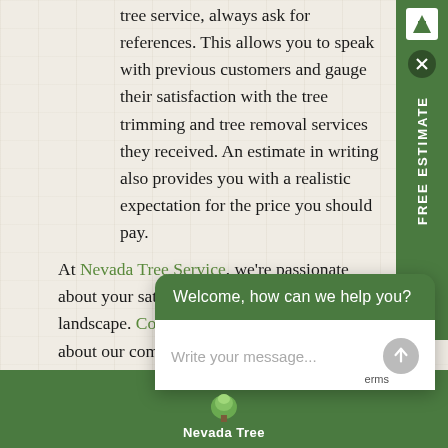tree service, always ask for references. This allows you to speak with previous customers and gauge their satisfaction with the tree trimming and tree removal services they received. An estimate in writing also provides you with a realistic expectation for the price you should pay.
At Nevada Tree Service, we're passionate about your satisfaction and the health of your landscape. Contact us today to learn more about our complete tree service offerings.
Nevada Tree Service
2062 Falcon Ridge Street, Las Vegas, NV 89142
(702) 43...
[Figure (screenshot): Chat widget overlay with dark green header saying 'Welcome, how can we help you?' and white body with placeholder text 'Write your message...' and a send button]
[Figure (screenshot): Right sidebar with green background showing 'FREE ESTIMATE' text vertically, a white logo icon at top, and a close button]
[Figure (logo): Nevada Tree logo with tree icon at bottom of page on green footer bar]